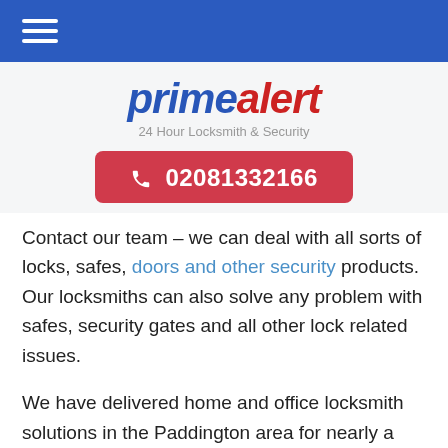≡ (hamburger menu icon)
[Figure (logo): primealert logo with 24 Hour Locksmith & Security tagline]
02081332166
Contact our team – we can deal with all sorts of locks, safes, doors and other security products. Our locksmiths can also solve any problem with safes, security gates and all other lock related issues.
We have delivered home and office locksmith solutions in the Paddington area for nearly a decade. Our locksmiths have a thorough understanding of the local market. Have the benefit of a company that has dealt with all kinds of locksmith related challenges on many occasions. Are you looking for locksmith near me? Located in Paddington?